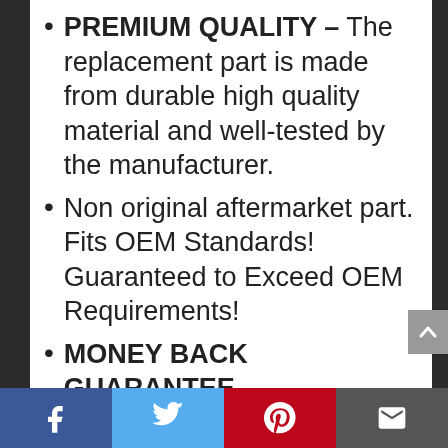PREMIUM QUALITY – The replacement part is made from durable high quality material and well-tested by the manufacturer.
Non original aftermarket part. Fits OEM Standards! Guaranteed to Exceed OEM Requirements!
MONEY BACK GUARANTEE – For any reason you're not completely satisfied, you can ask for a replacement or full refund, no questions asked.